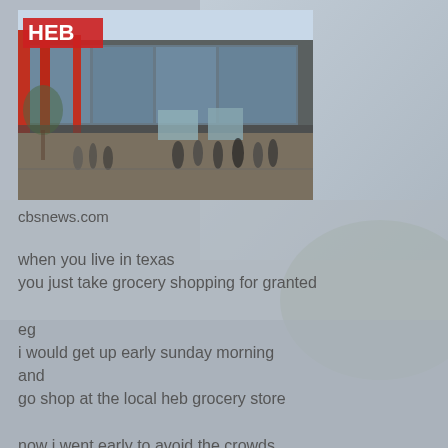[Figure (photo): Exterior photo of an HEB grocery store with large glass facade and HEB sign, people outside the entrance]
cbsnews.com
when you live in texas
you just take grocery shopping for granted

eg
i would get up early sunday morning
and
go shop at the local heb grocery store

now i went early to avoid the crowds
ok
to avoid the gray headed crowds
theyll run you over with their buggies they will

now in my hand would be a